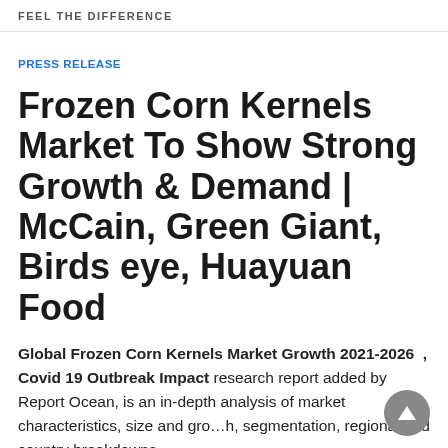FEEL THE DIFFERENCE
PRESS RELEASE
Frozen Corn Kernels Market To Show Strong Growth & Demand | McCain, Green Giant, Birds eye, Huayuan Food
Global Frozen Corn Kernels Market Growth 2021-2026 , Covid 19 Outbreak Impact research report added by Report Ocean, is an in-depth analysis of market characteristics, size and growth, segmentation, regional and country breakdowns,